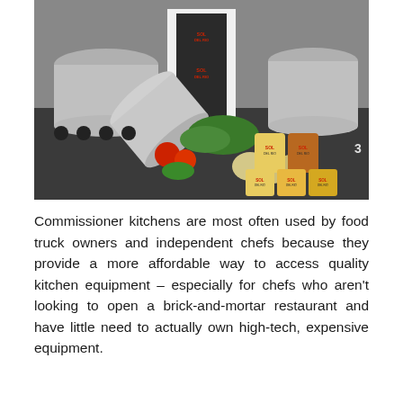[Figure (photo): A chef in a white coat and dark apron branded 'Sol Del Rio' stands behind a large stainless steel pot tipped on its side, surrounded by fresh vegetables (tomatoes, herbs, onions) and multiple jars of Sol Del Rio salsa products, in a professional kitchen with stoves and large pots in the background.]
Commissioner kitchens are most often used by food truck owners and independent chefs because they provide a more affordable way to access quality kitchen equipment – especially for chefs who aren't looking to open a brick-and-mortar restaurant and have little need to actually own high-tech, expensive equipment.